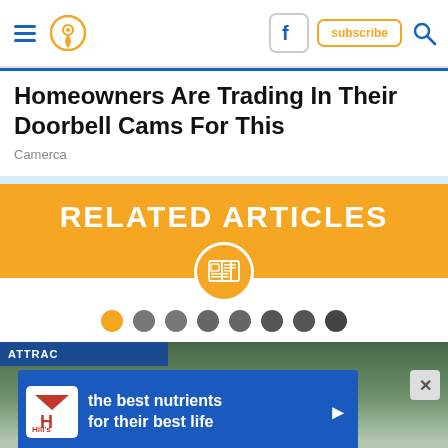Navigation bar with hamburger menu, location icon, Facebook button, subscribe button, search icon
Homeowners Are Trading In Their Doorbell Cams For This
Camerca
RELATED ARTICLES
[Figure (other): Carousel pagination dots — one orange dot (active) and seven grey dots]
[Figure (photo): Advertisement overlay on a house photo background. Hill's pet nutrition ad reads 'the best nutrients for their best life' with Hill's logo and blue background bar. 'ATTRAC' label visible in top left.]